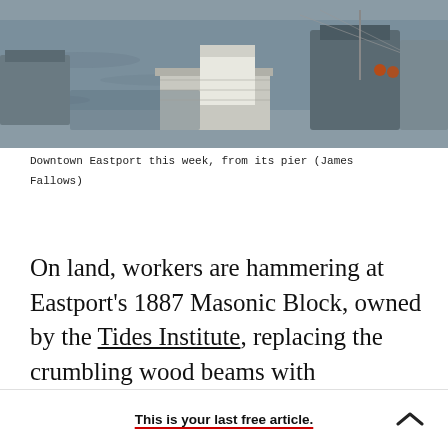[Figure (photo): Aerial/pier view of Downtown Eastport waterfront with boats docked, calm grey water visible]
Downtown Eastport this week, from its pier (James Fallows)
On land, workers are hammering at Eastport's 1887 Masonic Block, owned by the Tides Institute, replacing the crumbling wood beams with monstrous steel ones to keep the building standing for two centuries more, at least. It's worth the trouble to be sure that the west side of Water Street remains solid with its row of red brick buildings.
This is your last free article.